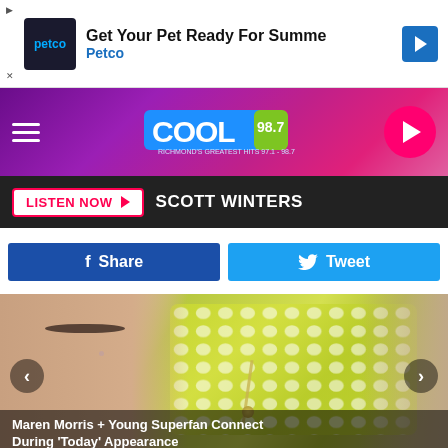[Figure (screenshot): Advertisement banner for Petco: 'Get Your Pet Ready For Summe' with Petco logo and blue navigation arrow]
[Figure (screenshot): Cool 98.7 radio station header with purple/pink gradient background, hamburger menu, Cool 98.7 logo, and pink play button]
LISTEN NOW ▶  SCOTT WINTERS
[Figure (screenshot): Facebook Share button (dark blue) and Twitter Tweet button (light blue) side by side]
[Figure (photo): Photo slideshow showing Maren Morris and a young superfan, with left and right navigation arrows. Caption reads: Maren Morris + Young Superfan Connect During 'Today' Appearance]
Maren Morris + Young Superfan Connect During 'Today' Appearance
[Figure (screenshot): Advertisement banner for McAlister's Deli: 'Pickup & To Go Available' with McAl logo and blue navigation arrow]